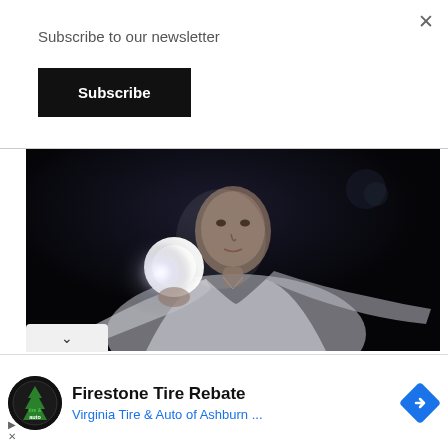Subscribe to our newsletter
Subscribe
[Figure (photo): Man in white shirt holding a bright glowing light/flashlight against a dark background, facing the camera]
Firestone Tire Rebate
Virginia Tire & Auto of Ashburn ...